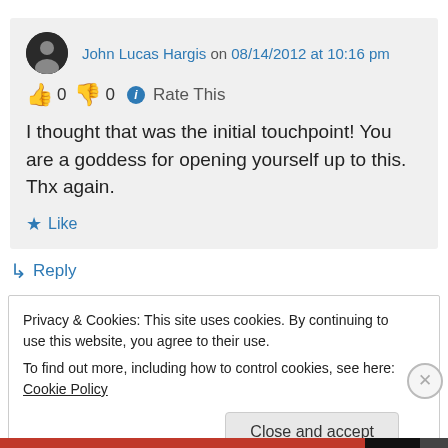John Lucas Hargis on 08/14/2012 at 10:16 pm
👍 0 👎 0 ℹ Rate This
I thought that was the initial touchpoint! You are a goddess for opening yourself up to this. Thx again.
★ Like
↳ Reply
Privacy & Cookies: This site uses cookies. By continuing to use this website, you agree to their use.
To find out more, including how to control cookies, see here: Cookie Policy
Close and accept